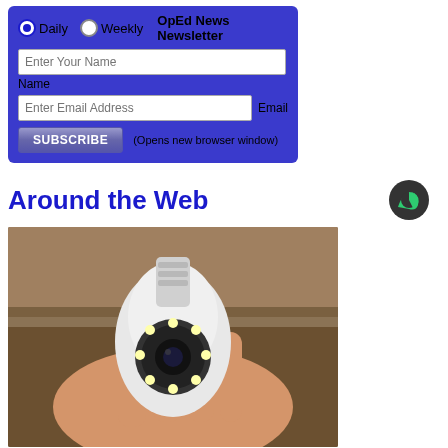[Figure (screenshot): Newsletter signup form with blue background. Radio buttons for Daily and Weekly, OpEd News Newsletter title, name input field, email input field, and Subscribe button with '(Opens new browser window)' text.]
Around the Web
[Figure (photo): A hand holding a white security camera shaped like a light bulb with visible LED lights around the lens, on a wooden shelf background.]
Homeowners Are Trading in